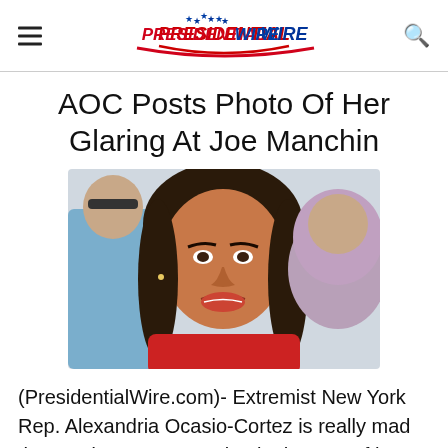Presidential Wire
AOC Posts Photo Of Her Glaring At Joe Manchin
[Figure (photo): Photo of Alexandria Ocasio-Cortez making an angry or glaring expression, wearing a red top, with a crowd behind her including a person in a hijab]
(PresidentialWire.com)- Extremist New York Rep. Alexandria Ocasio-Cortez is really mad that moderates are getting in the way of her